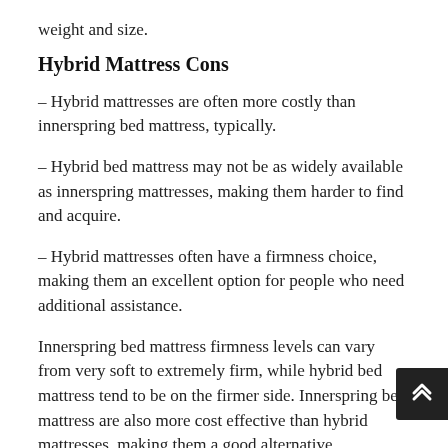weight and size.
Hybrid Mattress Cons
– Hybrid mattresses are often more costly than innerspring bed mattress, typically.
– Hybrid bed mattress may not be as widely available as innerspring mattresses, making them harder to find and acquire.
– Hybrid mattresses often have a firmness choice, making them an excellent option for people who need additional assistance.
Innerspring bed mattress firmness levels can vary from very soft to extremely firm, while hybrid bed mattress tend to be on the firmer side. Innerspring bed mattress are also more cost effective than hybrid mattresses, making them a good alternative...